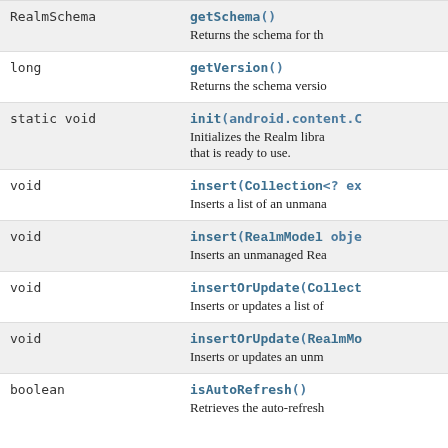| Type | Method and Description |
| --- | --- |
| RealmSchema | getSchema()
Returns the schema for th |
| long | getVersion()
Returns the schema versio |
| static void | init(android.content.C
Initializes the Realm libra that is ready to use. |
| void | insert(Collection<? ex
Inserts a list of an unmana |
| void | insert(RealmModel obje
Inserts an unmanaged Rea |
| void | insertOrUpdate(Collect
Inserts or updates a list of |
| void | insertOrUpdate(RealmMo
Inserts or updates an unm |
| boolean | isAutoRefresh()
Retrieves the auto-refresh |